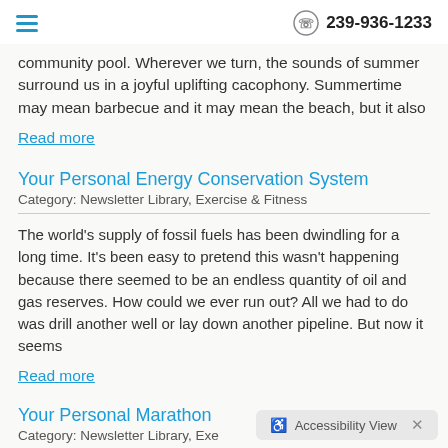239-936-1233
community pool. Wherever we turn, the sounds of summer surround us in a joyful uplifting cacophony. Summertime may mean barbecue and it may mean the beach, but it also
Read more
Your Personal Energy Conservation System
Category: Newsletter Library, Exercise & Fitness
The world's supply of fossil fuels has been dwindling for a long time. It's been easy to pretend this wasn't happening because there seemed to be an endless quantity of oil and gas reserves. How could we ever run out? All we had to do was drill another well or lay down another pipeline. But now it seems
Read more
Your Personal Marathon
Category: Newsletter Library, Exe...